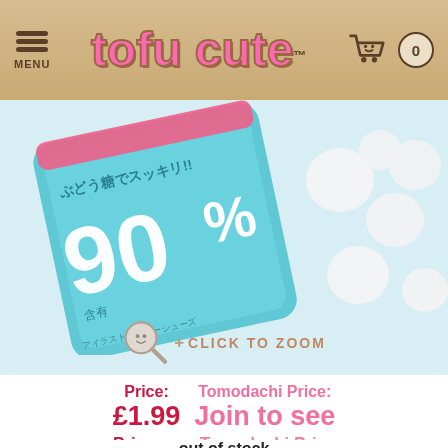tofu cute™ — MENU, cart 0
[Figure (photo): Product photo: teal/mint coloured candy bag with Japanese text showing 90% and white round tablet candies scattered beside it on light blue background]
+ CLICK TO ZOOM
Price: £1.99    Tomodachi Price: Join to see
out of stock
May be restocked in the future
ADD TO WISHLIST ♥
GF - This product is Gluten Free but may be manufactured in a factory that uses Gluten. Cross contamination is the worst...><